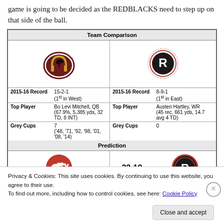game is going to be decided as the REDBLACKS need to step up on that side of the ball.
| Team Comparison |
| --- |
| Calgary Stampeders logo |  | Ottawa REDBLACKS logo |  |
| 2015-16 Record | 15-2-1 (1st in West) | 2015-16 Record | 8-9-1 (1st in East) |
| Top Player | Bo Levi Mitchell, QB (67.9%, 5,385 yds, 32 TD, 8 INT) | Top Player | Austen Hartley, WR (45 rec, 661 yds, 14.7 avg 4 TD) |
| Grey Cups | 7 ('48, '71, '92, '98, '01, '08, '14) | Grey Cups | 0 |
| Prediction |  |  |  |
| Calgary logo | 32-18 | Ottawa logo |  |
Privacy & Cookies: This site uses cookies. By continuing to use this website, you agree to their use.
To find out more, including how to control cookies, see here: Cookie Policy